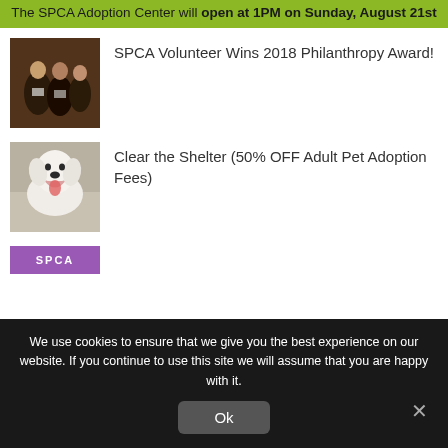The SPCA Adoption Center will open at 1PM on Sunday, August 21st
[Figure (photo): Group photo of people at an event, formal attire]
SPCA Volunteer Wins 2018 Philanthropy Award!
[Figure (photo): White dog with mouth open, smiling]
Clear the Shelter (50% OFF Adult Pet Adoption Fees)
[Figure (photo): Partial image showing SPCA purple banner]
We use cookies to ensure that we give you the best experience on our website. If you continue to use this site we will assume that you are happy with it.